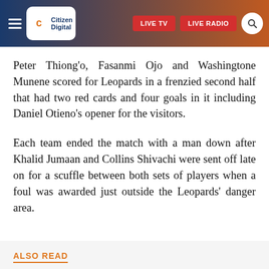Citizen Digital — LIVE TV | LIVE RADIO
Peter Thiong'o, Fasanmi Ojo and Washingtone Munene scored for Leopards in a frenzied second half that had two red cards and four goals in it including Daniel Otieno's opener for the visitors.
Each team ended the match with a man down after Khalid Jumaan and Collins Shivachi were sent off late on for a scuffle between both sets of players when a foul was awarded just outside the Leopards' danger area.
ALSO READ